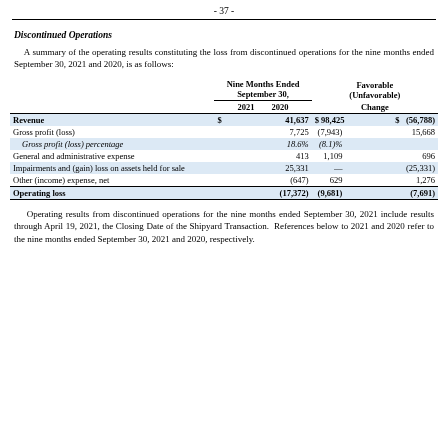- 37 -
Discontinued Operations
A summary of the operating results constituting the loss from discontinued operations for the nine months ended September 30, 2021 and 2020, is as follows:
|  | Nine Months Ended September 30, 2021 | Nine Months Ended September 30, 2020 | Favorable (Unfavorable) Change |
| --- | --- | --- | --- |
| Revenue | $ 41,637 | $ 98,425 | $ (56,788) |
| Gross profit (loss) | 7,725 | (7,943) | 15,668 |
| Gross profit (loss) percentage | 18.6% | (8.1)% |  |
| General and administrative expense | 413 | 1,109 | 696 |
| Impairments and (gain) loss on assets held for sale | 25,331 | — | (25,331) |
| Other (income) expense, net | (647) | 629 | 1,276 |
| Operating loss | (17,372) | (9,681) | (7,691) |
Operating results from discontinued operations for the nine months ended September 30, 2021 include results through April 19, 2021, the Closing Date of the Shipyard Transaction. References below to 2021 and 2020 refer to the nine months ended September 30, 2021 and 2020, respectively.